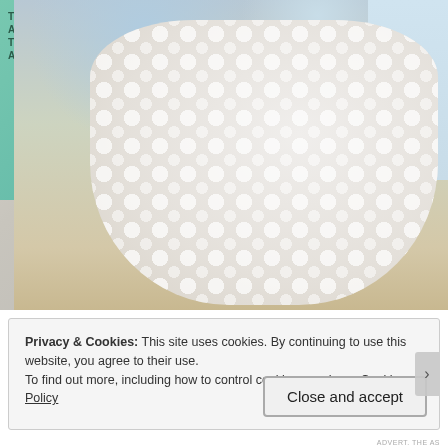[Figure (photo): Close-up photo of a white cloth diaper with polka dot/bubble pattern, displayed against a teal educational poster background showing an owl and text 'Today a Reader Tomorrow a Leader'. A cartoon child figure is visible on the right side.]
Privacy & Cookies: This site uses cookies. By continuing to use this website, you agree to their use.
To find out more, including how to control cookies, see here: Cookie Policy
Close and accept